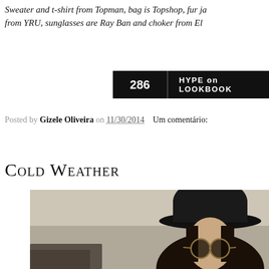Sweater and t-shirt from Topman, bag is Topshop, fur jacket from YRU, sunglasses are Ray Ban and choker from Ele
286  HYPE on LOOKBOOK
Posted by Gizele Oliveira on 11/30/2014    Um comentário:
Cold Weather
[Figure (photo): A person wearing a wide-brim black hat and round sunglasses, photographed indoors against a light wall background.]